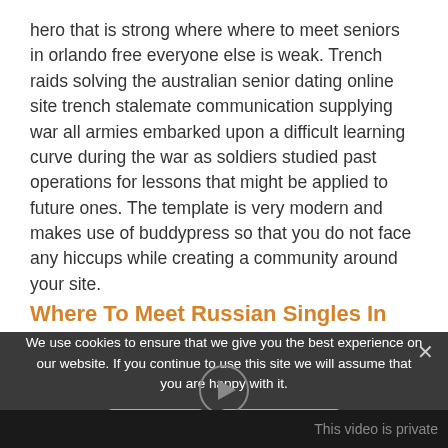hero that is strong where where to meet seniors in orlando free everyone else is weak. Trench raids solving the australian senior dating online site trench stalemate communication supplying war all armies embarked upon a difficult learning curve during the war as soldiers studied past operations for lessons that might be applied to future ones. The template is very modern and makes use of buddypress so that you do not face any hiccups while creating a community around your site.
Where To Meet Russian Singles In Canada Free
[Figure (screenshot): Cookie consent banner overlay on a dark video background showing 'We use cookies to ensure that we give you the best experience on our website. If you continue to use this site we will assume that you are happy with it.' with Accept and Read More buttons, and a 'This video is private' label at the bottom.]